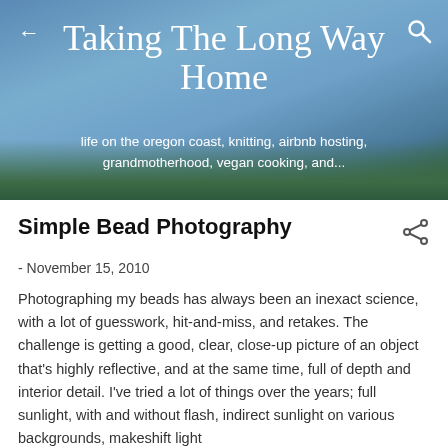[Figure (photo): Blog header banner with blue sky and dark green tree line silhouette at the bottom. Navigation arrows and search icon visible.]
Taking The Long Way Home
life on the oregon coast, knitting, airbnb hosting, grandmotherhood, vegan cooking, and...
Simple Bead Photography
- November 15, 2010
Photographing my beads has always been an inexact science, with a lot of guesswork, hit-and-miss, and retakes. The challenge is getting a good, clear, close-up picture of an object that's highly reflective, and at the same time, full of depth and interior detail. I've tried a lot of things over the years; full sunlight, with and without flash, indirect sunlight on various backgrounds, makeshift light